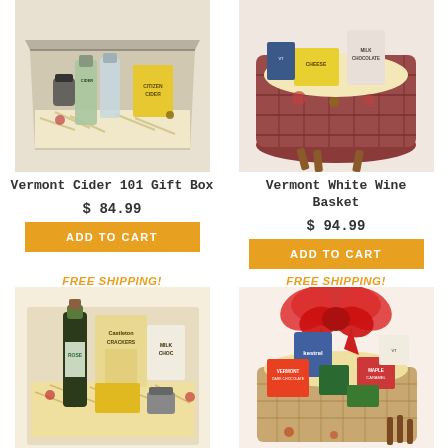[Figure (photo): Vermont Cider 101 Gift Box product photo showing a gift box with cider bottles and snacks]
Vermont Cider 101 Gift Box
$ 84.99
ADD TO CART
[Figure (photo): Vermont White Wine Basket product photo showing a basket with wine, cheese and chocolates]
Vermont White Wine Basket
$ 94.99
ADD TO CART
FREE SHIPPING!
[Figure (photo): Gift box with wine bottle, crackers, milk chocolate and cheese]
FREE SHIPPING!
[Figure (photo): Large gift basket with red bow, Vermont products including chocolate and caramel items]